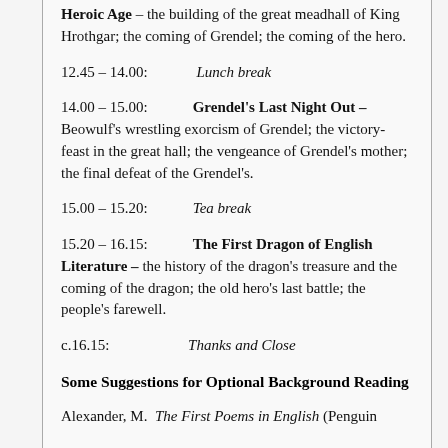Heroic Age – the building of the great meadhall of King Hrothgar; the coming of Grendel; the coming of the hero.
12.45 – 14.00: Lunch break
14.00 – 15.00: Grendel's Last Night Out – Beowulf's wrestling exorcism of Grendel; the victory-feast in the great hall; the vengeance of Grendel's mother; the final defeat of the Grendel's.
15.00 – 15.20: Tea break
15.20 – 16.15: The First Dragon of English Literature – the history of the dragon's treasure and the coming of the dragon; the old hero's last battle; the people's farewell.
c.16.15: Thanks and Close
Some Suggestions for Optional Background Reading
Alexander, M.  The First Poems in English (Penguin